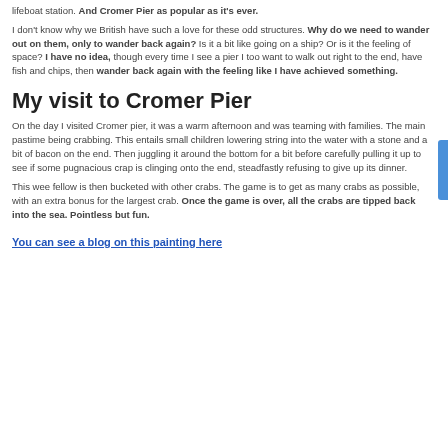lifeboat station. And Cromer Pier as popular as it's ever.
I don't know why we British have such a love for these odd structures. Why do we need to wander out on them, only to wander back again? Is it a bit like going on a ship? Or is it the feeling of space? I have no idea, though every time I see a pier I too want to walk out right to the end, have fish and chips, then wander back again with the feeling like I have achieved something.
My visit to Cromer Pier
On the day I visited Cromer pier, it was a warm afternoon and was teaming with families. The main pastime being crabbing. This entails small children lowering string into the water with a stone and a bit of bacon on the end. Then juggling it around the bottom for a bit before carefully pulling it up to see if some pugnacious crap is clinging onto the end, steadfastly refusing to give up its dinner.
This wee fellow is then bucketed with other crabs. The game is to get as many crabs as possible, with an extra bonus for the largest crab. Once the game is over, all the crabs are tipped back into the sea. Pointless but fun.
You can see a blog on this painting here